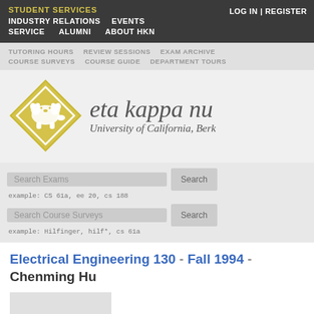STUDENT SERVICES | INDUSTRY RELATIONS | EVENTS | SERVICE | ALUMNI | ABOUT HKN | LOG IN | REGISTER
TUTORING HOURS | REVIEW SESSIONS | EXAM ARCHIVE | COURSE SURVEYS | COURSE GUIDE | DEPARTMENT TOURS
[Figure (logo): Eta Kappa Nu logo — yellow diamond with bear silhouette, text 'eta kappa nu' and 'University of California, Berk']
Search Exams | example: CS 61a, ee 20, cs 188 | Search Course Surveys | example: Hilfinger, hilf*, cs 61a
Electrical Engineering 130 - Fall 1994 - Chenming Hu
See all of